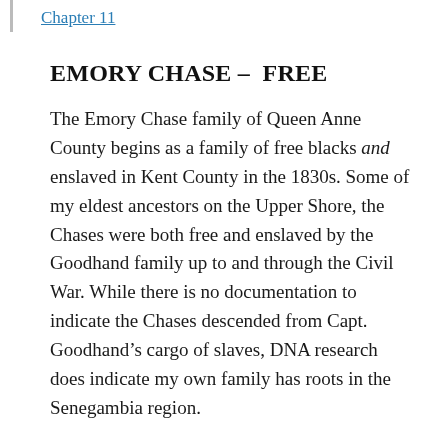Chapter 11
EMORY CHASE – FREE
The Emory Chase family of Queen Anne County begins as a family of free blacks and enslaved in Kent County in the 1830s. Some of my eldest ancestors on the Upper Shore, the Chases were both free and enslaved by the Goodhand family up to and through the Civil War. While there is no documentation to indicate the Chases descended from Capt. Goodhand's cargo of slaves, DNA research does indicate my own family has roots in the Senegambia region.